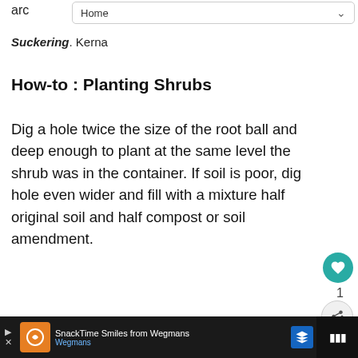Home
Suckering. Kerna
How-to : Planting Shrubs
Dig a hole twice the size of the root ball and deep enough to plant at the same level the shrub was in the container. If soil is poor, dig hole even wider and fill with a mixture half original soil and half compost or soil amendment.
SnackTime Smiles from Wegmans Wegmans